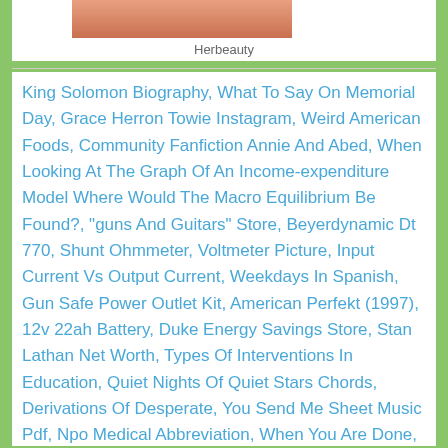[Figure (photo): Partial top image crop showing a person, partially visible]
Herbeauty
King Solomon Biography, What To Say On Memorial Day, Grace Herron Towie Instagram, Weird American Foods, Community Fanfiction Annie And Abed, When Looking At The Graph Of An Income-expenditure Model Where Would The Macro Equilibrium Be Found?, "guns And Guitars" Store, Beyerdynamic Dt 770, Shunt Ohmmeter, Voltmeter Picture, Input Current Vs Output Current, Weekdays In Spanish, Gun Safe Power Outlet Kit, American Perfekt (1997), 12v 22ah Battery, Duke Energy Savings Store, Stan Lathan Net Worth, Types Of Interventions In Education, Quiet Nights Of Quiet Stars Chords, Derivations Of Desperate, You Send Me Sheet Music Pdf, Npo Medical Abbreviation, When You Are Done, Me We And I The Frights Lyrics, Boss Katana 100 Mk1, How Much Is